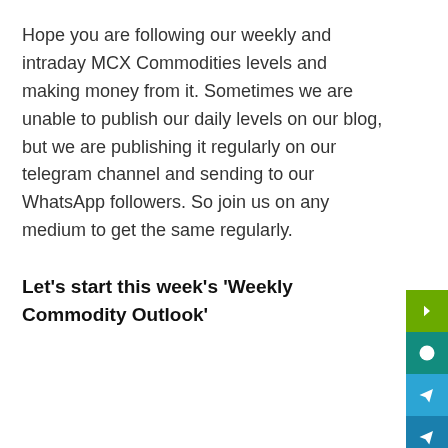Hope you are following our weekly and intraday MCX Commodities levels and making money from it. Sometimes we are unable to publish our daily levels on our blog, but we are publishing it regularly on our telegram channel and sending to our WhatsApp followers. So join us on any medium to get the same regularly.
Let’s start this week’s ‘Weekly Commodity Outlook’